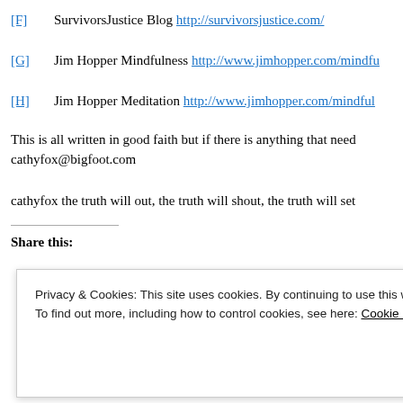[F] SurvivorsJustice Blog http://survivorsjustice.com/
[G] Jim Hopper Mindfulness http://www.jimhopper.com/mindfu
[H] Jim Hopper Meditation http://www.jimhopper.com/mindful
This is all written in good faith but if there is anything that need cathyfox@bigfoot.com
cathyfox the truth will out, the truth will shout, the truth will set
Share this:
Privacy & Cookies: This site uses cookies. By continuing to use this website, you agree to their use. To find out more, including how to control cookies, see here: Cookie Policy